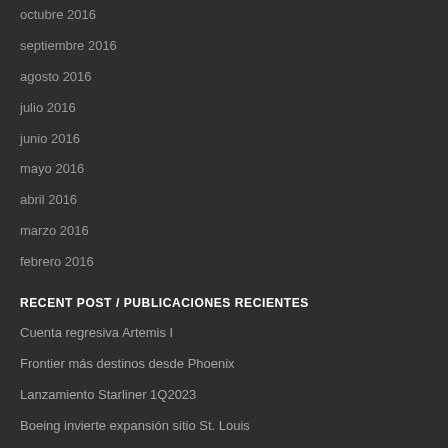octubre 2016
septiembre 2016
agosto 2016
julio 2016
junio 2016
mayo 2016
abril 2016
marzo 2016
febrero 2016
RECENT POST / PUBLICACIONES RECIENTES
Cuenta regresiva Artemis I
Frontier más destinos desde Phoenix
Lanzamiento Starliner 1Q2023
Boeing invierte expansión sitio St. Louis